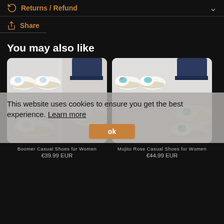Returns / Refund
Share
You may also like
[Figure (photo): Boomer Casual Shoes for Women - white slip-on shoes with dog print, shown in pairs and worn]
[Figure (photo): Mojito Rose Casual Shoes for Women - white slip-on shoes with floral dog print, shown in pairs and worn]
This website uses cookies to ensure you get the best experience. Learn more
ok
Boomer Casual Shoes for Women
€39.99 EUR
Mojito Rose Casual Shoes for Women
€44.99 EUR